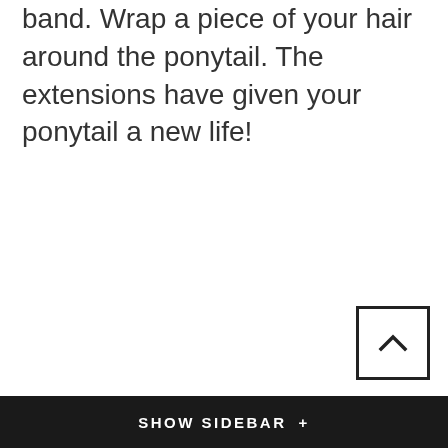band. Wrap a piece of your hair around the ponytail. The extensions have given your ponytail a new life!
[Figure (other): Scroll-to-top button with an upward chevron arrow inside a square border]
SHOW SIDEBAR +